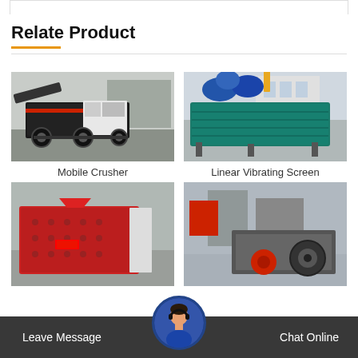Relate Product
[Figure (photo): Mobile Crusher – large wheeled mobile crushing machine in an industrial facility]
Mobile Crusher
[Figure (photo): Linear Vibrating Screen – large green vibrating screen equipment being lifted outdoors]
Linear Vibrating Screen
[Figure (photo): Hammer crusher machine – red and white industrial hammer crusher in a workshop]
[Figure (photo): Industrial machinery – heavy equipment in a factory setting]
Leave Message
Chat Online